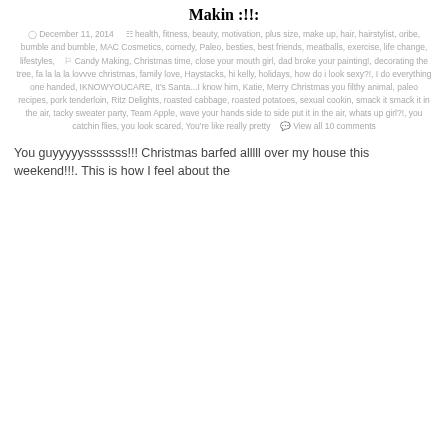Makin :!!:
December 11, 2014   health, fitness, beauty, motivation, plus size, make up, hair, hairstylist, oribe, bumble and bumble, MAC Cosmetics, comedy, Paleo, besties, best friends, meatballs, exercise, life change, lifestyles,   Candy Making, Christmas time, close your mouth girl, dad broke your painting!, decorating the tree, fa la la la lovvve christmas, family love, Haystacks, hi kelly, holidays, how do i look sexy?!, I do everything one handed, IKNOWYOUCARE, It's Santa...I know him, Katie, Merry Christmas you filthy animal, paleo recipes, pork tenderloin, Ritz Delights, roasted cabbage, roasted potatoes, sexual cookin, smack it smack it in the air, tacky sweater party, Team Apple, wave your hands side to side put it in the air, whats up girl?!, you catchin flies, you look scared, You're like really pretty   View all 10 comments
You guyyyyysssssss!!! Christmas barfed alllll over my house this weekend!!!. This is how I feel about the